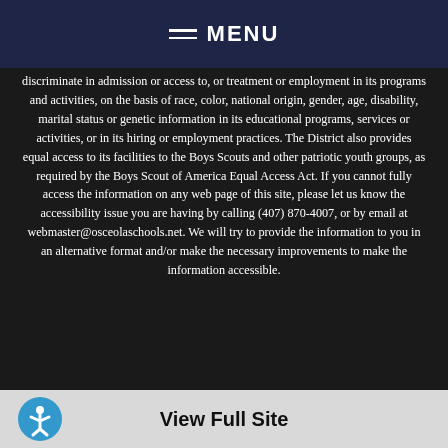MENU
discriminate in admission or access to, or treatment or employment in its programs and activities, on the basis of race, color, national origin, gender, age, disability, marital status or genetic information in its educational programs, services or activities, or in its hiring or employment practices. The District also provides equal access to its facilities to the Boys Scouts and other patriotic youth groups, as required by the Boys Scout of America Equal Access Act. If you cannot fully access the information on any web page of this site, please let us know the accessibility issue you are having by calling (407) 870-4007, or by email at webmaster@osceolaschools.net. We will try to provide the information to you in an alternative format and/or make the necessary improvements to make the information accessible.
[Figure (logo): Blackboard logo with registered trademark symbol]
Questions or Feedback? • Terms of Use
Blackboard Web Community Manager Privacy Policy (Updated)
Copyright © 2002-2022 Blackboard, Inc. All rights reserved.
View Full Site